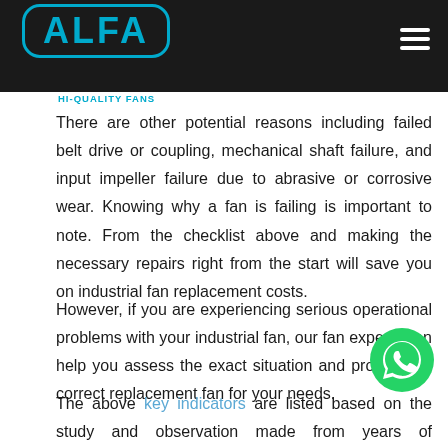ALFA HI-QUALITY FANS
There are other potential reasons including failed belt drive or coupling, mechanical shaft failure, and input impeller failure due to abrasive or corrosive wear. Knowing why a fan is failing is important to note. From the checklist above and making the necessary repairs right from the start will save you on industrial fan replacement costs.
However, if you are experiencing serious operational problems with your industrial fan, our fan experts can help you assess the exact situation and provide the correct replacement fan for your needs.
[Figure (illustration): Green WhatsApp chat button icon]
The above key indicators are listed based on the study and observation made from years of experience in this field